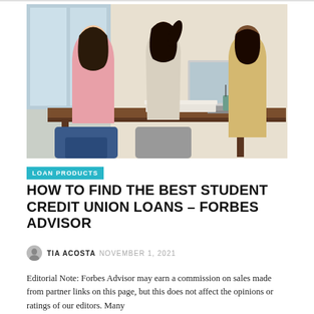[Figure (photo): Three women at a desk in an office setting — two clients and one advisor — with a computer monitor visible in the background.]
LOAN PRODUCTS
HOW TO FIND THE BEST STUDENT CREDIT UNION LOANS – FORBES ADVISOR
TIA ACOSTA  NOVEMBER 1, 2021
Editorial Note: Forbes Advisor may earn a commission on sales made from partner links on this page, but this does not affect the opinions or ratings of our editors. Many